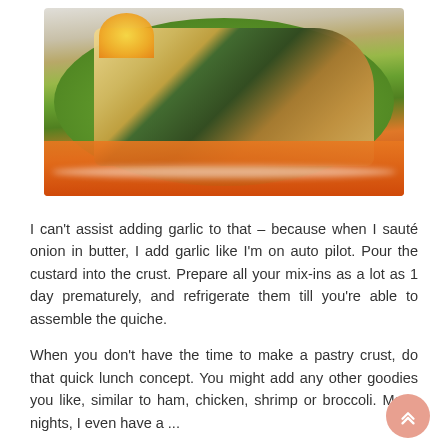[Figure (photo): A slice of spinach quiche on a green plate with orange wedges, placed on an orange cloth napkin]
I can't assist adding garlic to that – because when I sauté onion in butter, I add garlic like I'm on auto pilot. Pour the custard into the crust. Prepare all your mix-ins as a lot as 1 day prematurely, and refrigerate them till you're able to assemble the quiche.
When you don't have the time to make a pastry crust, do that quick lunch concept. You might add any other goodies you like, similar to ham, chicken, shrimp or broccoli. Many nights, I even have a ...